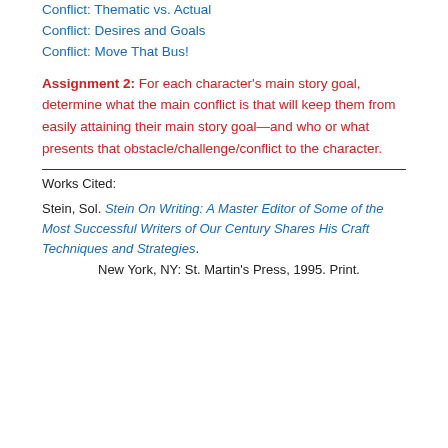Conflict: Thematic vs. Actual
Conflict: Desires and Goals
Conflict: Move That Bus!
Assignment 2: For each character's main story goal, determine what the main conflict is that will keep them from easily attaining their main story goal—and who or what presents that obstacle/challenge/conflict to the character.
Works Cited:
Stein, Sol. Stein On Writing: A Master Editor of Some of the Most Successful Writers of Our Century Shares His Craft Techniques and Strategies. New York, NY: St. Martin's Press, 1995. Print.